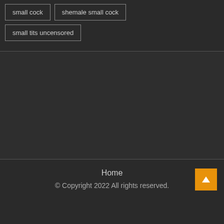small cock
shemale small cock
small tits uncensored
Home
© Copyright 2022 All rights reserved.